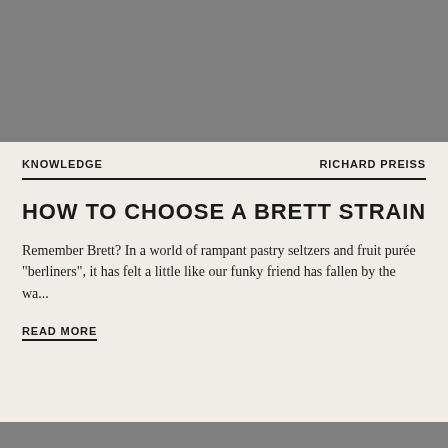[Figure (photo): Gray placeholder image at top of page]
KNOWLEDGE
RICHARD PREISS
HOW TO CHOOSE A BRETT STRAIN
Remember Brett? In a world of rampant pastry seltzers and fruit purée "berliners", it has felt a little like our funky friend has fallen by the wa...
READ MORE
[Figure (photo): Gray image strip at bottom of page]